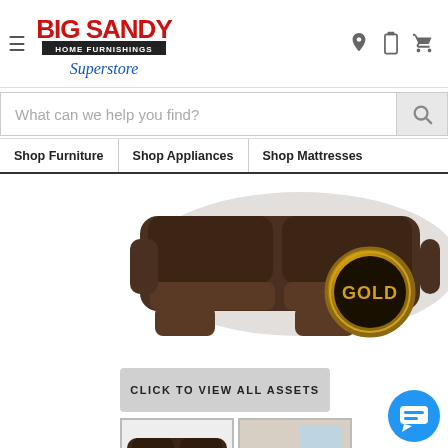[Figure (logo): Big Sandy Home Furnishings Superstore logo with red bold text, black banner subtitle, and blue cursive Superstore script]
What can we help you find?
Shop Furniture
Shop Appliances
Shop Mattresses
[Figure (photo): Dark brown leather reclining sofa/sectional with GOLD badge overlay circle in lower right]
CLICK TO VIEW ALL ASSETS
[Figure (photo): Dark brown leather loveseat recliner thumbnail]
[Figure (photo): Room scene with reclining sofa set thumbnail]